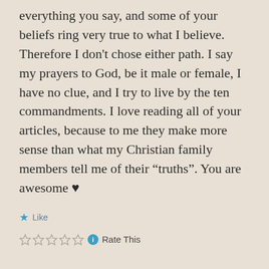everything you say, and some of your beliefs ring very true to what I believe. Therefore I don't chose either path. I say my prayers to God, be it male or female, I have no clue, and I try to live by the ten commandments. I love reading all of your articles, because to me they make more sense than what my Christian family members tell me of their “truths”. You are awesome ♥